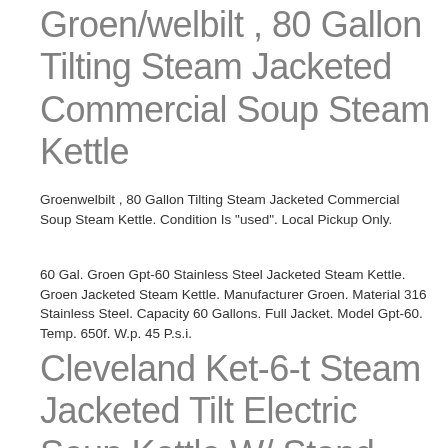Groen/welbilt , 80 Gallon Tilting Steam Jacketed Commercial Soup Steam Kettle
Groenwelbilt , 80 Gallon Tilting Steam Jacketed Commercial Soup Steam Kettle. Condition Is "used". Local Pickup Only.
60 Gal. Groen Gpt-60 Stainless Steel Jacketed Steam Kettle. Groen Jacketed Steam Kettle. Manufacturer Groen. Material 316 Stainless Steel. Capacity 60 Gallons. Full Jacket. Model Gpt-60. Temp. 650f. W.p. 45 P.s.i.
Cleveland Ket-6-t Steam Jacketed Tilt Electric Soup Kettle W/ Stand
Kettle Jacket Partial. Type Single Kettle. Manufacturer Cleveland Range. Power Type Electric. Knob Is Currently On Order. Installation Type Floor Model. Capacity 6 Gallons. Phase